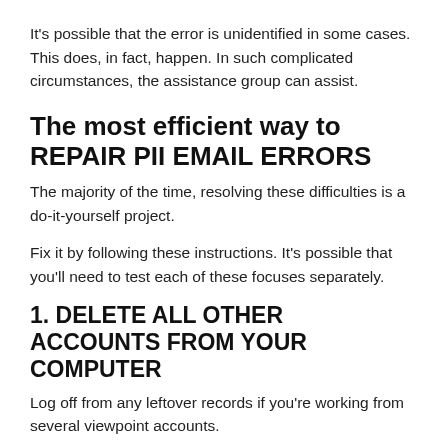It's possible that the error is unidentified in some cases. This does, in fact, happen. In such complicated circumstances, the assistance group can assist.
The most efficient way to REPAIR PII EMAIL ERRORS
The majority of the time, resolving these difficulties is a do-it-yourself project.
Fix it by following these instructions. It's possible that you'll need to test each of these focuses separately.
1. DELETE ALL OTHER ACCOUNTS FROM YOUR COMPUTER
Log off from any leftover records if you're working from several viewpoint accounts.